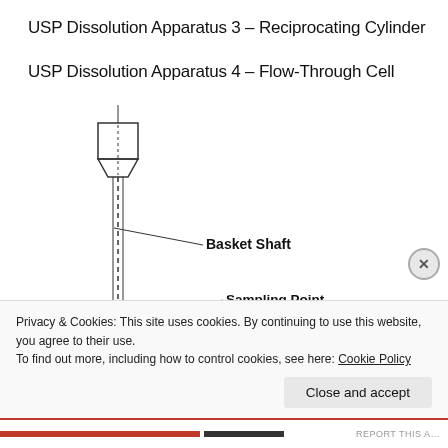USP Dissolution Apparatus 3 – Reciprocating Cylinder
USP Dissolution Apparatus 4 – Flow-Through Cell
[Figure (engineering-diagram): Engineering diagram of a USP dissolution apparatus component showing a cylindrical basket head at top connected to a long vertical shaft (Basket Shaft) with a dashed center line. At the lower portion there is a horizontal platform/stage with a sampling port labeled 'Sampling Point'. Leader lines point to 'Basket Shaft' and 'Sampling Point'.]
Privacy & Cookies: This site uses cookies. By continuing to use this website, you agree to their use.
To find out more, including how to control cookies, see here: Cookie Policy
Close and accept